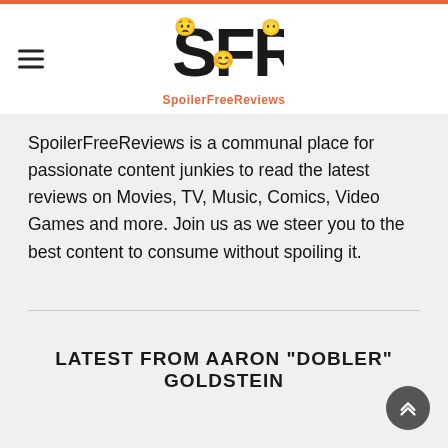SpoilerFreeReviews
SpoilerFreeReviews is a communal place for passionate content junkies to read the latest reviews on Movies, TV, Music, Comics, Video Games and more. Join us as we steer you to the best content to consume without spoiling it.
LATEST FROM AARON "DOBLER" GOLDSTEIN